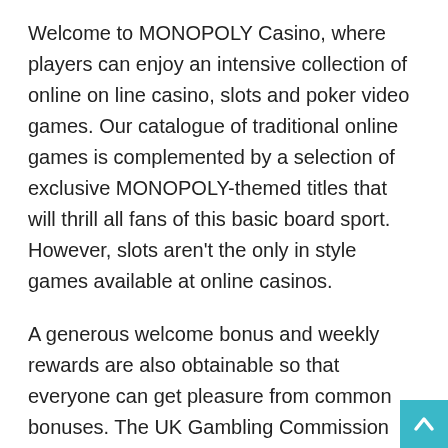Welcome to MONOPOLY Casino, where players can enjoy an intensive collection of online on line casino, slots and poker video games. Our catalogue of traditional online games is complemented by a selection of exclusive MONOPOLY-themed titles that will thrill all fans of this basic board sport. However, slots aren't the only in style games available at online casinos.
A generous welcome bonus and weekly rewards are also obtainable so that everyone can get pleasure from common bonuses. The UK Gambling Commission and the Malta Gaming Authority each licence the casino, meaning it's 100% legitimate. It also uses SSL encryption and PCI-compliant safety systems to create a safe platform. While there isn't a FAQ section, the standard contact options of cellphone, email, and stay chat can be found so you will get quick